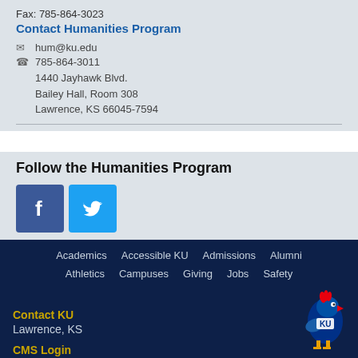Fax: 785-864-3023
Contact Humanities Program
hum@ku.edu
785-864-3011
1440 Jayhawk Blvd.
Bailey Hall, Room 308
Lawrence, KS 66045-7594
Follow the Humanities Program
[Figure (logo): Facebook icon (blue square with white F)]
[Figure (logo): Twitter icon (light blue square with white bird)]
Academics   Accessible KU   Admissions   Alumni
Athletics   Campuses   Giving   Jobs   Safety
Contact KU
Lawrence, KS
CMS Login
[Figure (logo): KU Jayhawk mascot logo]